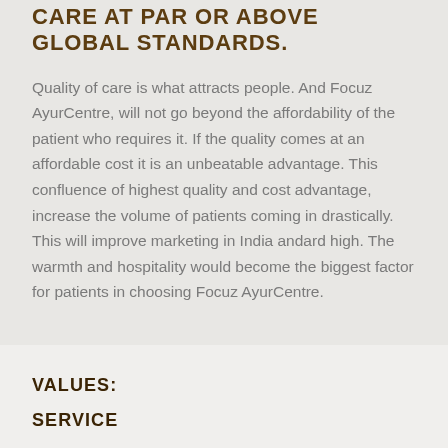CARE AT PAR OR ABOVE GLOBAL STANDARDS.
Quality of care is what attracts people. And Focuz AyurCentre, will not go beyond the affordability of the patient who requires it. If the quality comes at an affordable cost it is an unbeatable advantage. This confluence of highest quality and cost advantage, increase the volume of patients coming in drastically. This will improve marketing in India andard high. The warmth and hospitality would become the biggest factor for patients in choosing Focuz AyurCentre.
VALUES:
SERVICE